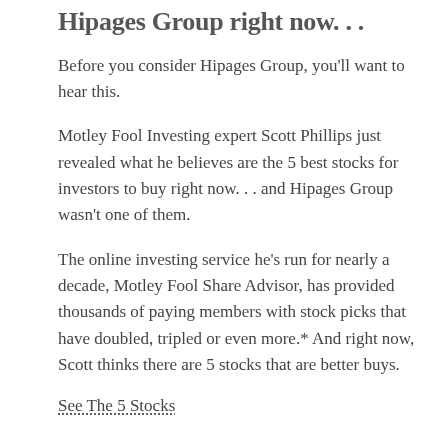Hipages Group right now...
Before you consider Hipages Group, you'll want to hear this.
Motley Fool Investing expert Scott Phillips just revealed what he believes are the 5 best stocks for investors to buy right now. . . and Hipages Group wasn't one of them.
The online investing service he's run for nearly a decade, Motley Fool Share Advisor, has provided thousands of paying members with stock picks that have doubled, tripled or even more.* And right now, Scott thinks there are 5 stocks that are better buys.
See The 5 Stocks
*Returns as of August 16th 2021
More reading